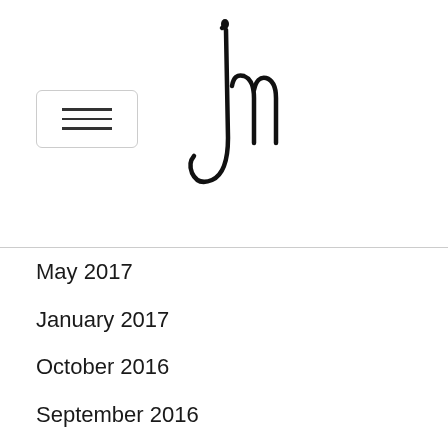jm logo and navigation
May 2017
January 2017
October 2016
September 2016
August 2016
July 2016
June 2016
May 2016
March 2016
December 2015